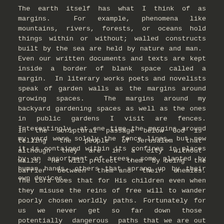The earth itself has what I think of as margins. For example, phenomena like mountains, rivers, forests, or oceans hold things within or without; walled constructs built by the sea are held by nature and man. Even our written documents and texts are kept inside a border of blank space called a margin. In literary works poets and novelists speak of garden walls as the margins around growing spaces. The margins around my backyard gardening spaces as well as the ones in public gardens I visit are fences. Interestingly, at one time the margins around my yard were solely the fence lines, but now it is contained within its confines in places by an assortment of trees, some planted by human hands, others that sprang up by their own devices.
In the scriptural passage below God is telling the people of Jerusalem that although they are in a city without walls, He will protect them by being the barrier between them and their enemies. The Lord does that for His children even when they misuse the reins of free will to wander poorly chosen worldly paths. Fortunately for us we never get so far down those potentially dangerous paths that we are out from under the spread of Yahweh's mighty wings of grace. When asked, He will pull us into a walled sanctuary where His forgiveness is an ever-standing offer for contrite hearts. And as